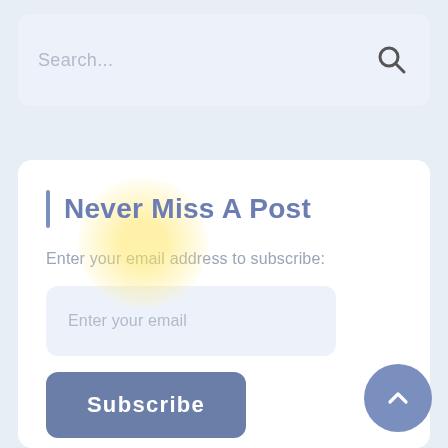[Figure (screenshot): Search bar input field with placeholder text 'Search...' and a magnifying glass search icon on the right, inside a light blue rounded card]
Never Miss A Post
Enter your email address to subscribe:
[Figure (screenshot): Email input field with placeholder text 'Enter your email' inside a light blue rounded rectangle]
[Figure (screenshot): Subscribe button — a blue-grey rounded rectangle with white bold text 'Subscribe']
[Figure (screenshot): Scroll-to-top circular button with a chevron/arrow pointing upward, steel blue color, positioned bottom-right]